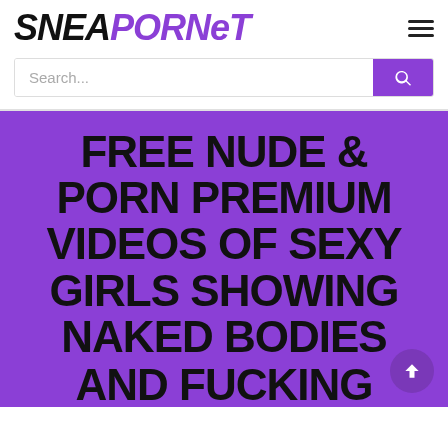SNEAPORNET
Search...
Free Nude & Porn Premium Videos Of Sexy Girls Showing Naked Bodies And Fucking